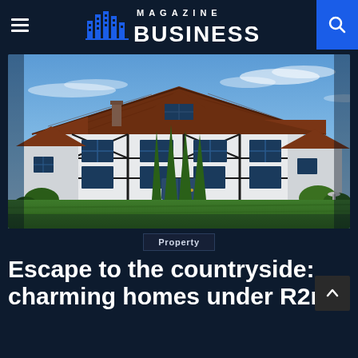MAGAZINE BUSINESS
[Figure (photo): Exterior photograph of a large Tudor-style countryside home with red-brown tiled roofs, white plaster walls with dark timber framing, set against a blue sky with light clouds, with a green lawn in the foreground and trees to the sides.]
Property
Escape to the countryside: charming homes under R2m